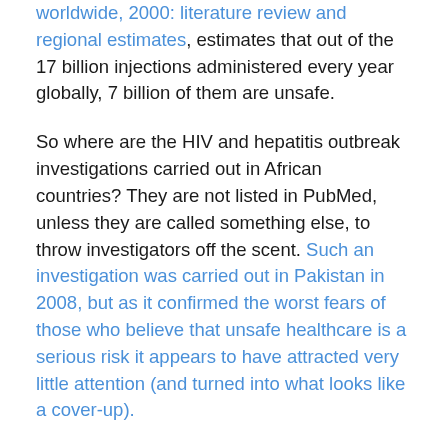worldwide, 2000: literature review and regional estimates, estimates that out of the 17 billion injections administered every year globally, 7 billion of them are unsafe.
So where are the HIV and hepatitis outbreak investigations carried out in African countries? They are not listed in PubMed, unless they are called something else, to throw investigators off the scent. Such an investigation was carried out in Pakistan in 2008, but as it confirmed the worst fears of those who believe that unsafe healthcare is a serious risk it appears to have attracted very little attention (and turned into what looks like a cover-up).
So what do we know about unsafe healthcare in African countries, in the absence of such investigations? We know that infants with HIV negative mothers were probably infected through unsafe healthcare in Mozambique and